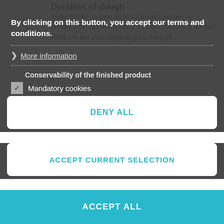Duration of dough
Yeast-based doughs up to 12 hours outside the refrigeration cell at 4°C/39.2°F; 148/72 hours in the cell. Products are also depending on the type...
By clicking on this button, you accept our terms and conditions.
> More information
Conservability of the finished product
☑ Mandatory cookies
Conservation is excellent and prolonged over time at both room temperature and freezer (in the case of pre-baked frozen products).
☐ Statistics cookies
The presence of wheat germ alive and the greater presence of fibers allow the product to keep cool for
65% - 68 % (Room temperature)
behavior and yield during use.
DENY ALL
ACCEPT CURRENT SELECTION
ACCEPT ALL